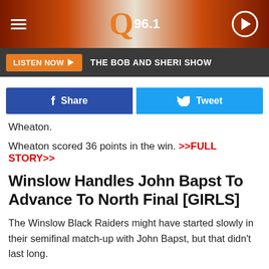[Figure (screenshot): Q96.1 radio station website header with orange gradient background, hamburger menu icon on left, Q96.1 logo in center, play button on right]
LISTEN NOW | THE BOB AND SHERI SHOW
[Figure (screenshot): Social share buttons: Facebook Share button (blue) and Twitter Tweet button (cyan)]
Wheaton.
Wheaton scored 36 points in the win. >>FULL STORY>>
Winslow Handles John Bapst To Advance To North Final [GIRLS]
The Winslow Black Raiders might have started slowly in their semifinal match-up with John Bapst, but that didn't last long.
Winslow's tenacious defense proved too much for the No. 2 Crusaders, who trailed in the contest for all but the first few